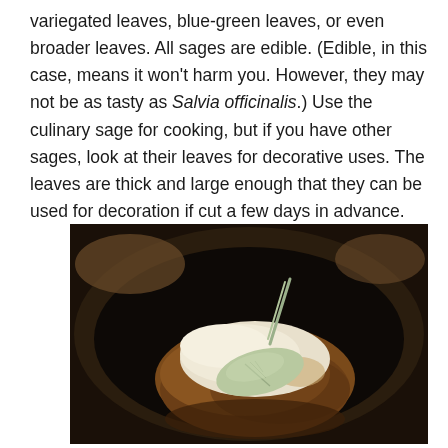variegated leaves, blue-green leaves, or even broader leaves. All sages are edible. (Edible, in this case, means it won't harm you. However, they may not be as tasty as Salvia officinalis.) Use the culinary sage for cooking, but if you have other sages, look at their leaves for decorative uses. The leaves are thick and large enough that they can be used for decoration if cut a few days in advance.
[Figure (photo): A dark-colored cast iron pan containing a baked potato topped with melted cheese and a fresh sage leaf garnish, photographed from above in dim lighting.]